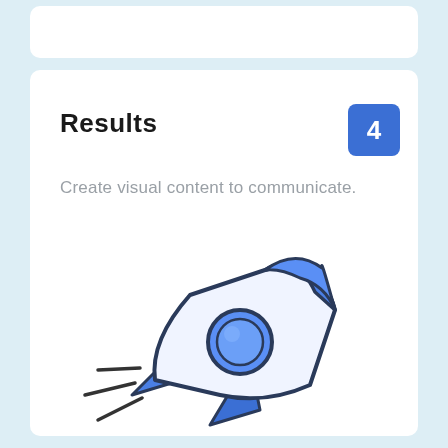Results
Create visual content to communicate.
[Figure (illustration): A cartoon rocket ship illustration in blue and white colors, launching diagonally with speed lines, featuring a circular porthole window.]